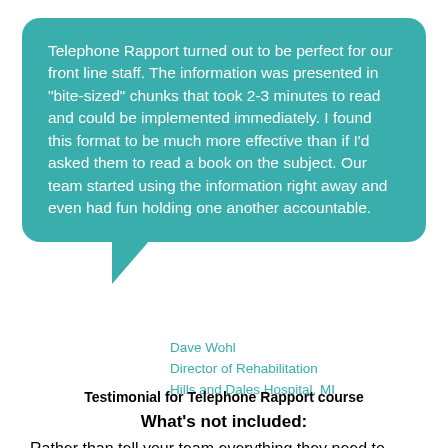[Figure (other): Teal speech bubble containing a testimonial quote about Telephone Rapport course]
Dave Wohl
Director of Rehabilitation
Hills and Dales Hospital, MI
Testimonial for Telephone Rapport course
What's not included:
Rather than tell your team everything they need to know and then give them a test so